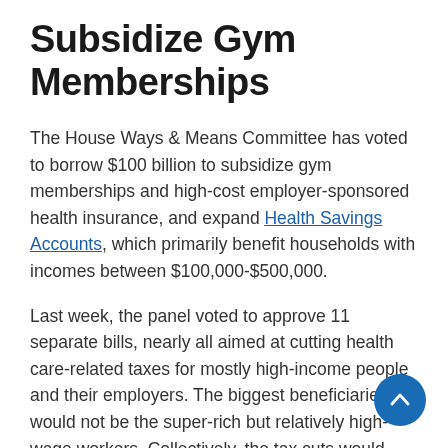Subsidize Gym Memberships
The House Ways & Means Committee has voted to borrow $100 billion to subsidize gym memberships and high-cost employer-sponsored health insurance, and expand Health Savings Accounts, which primarily benefit households with incomes between $100,000-$500,000.
Last week, the panel voted to approve 11 separate bills, nearly all aimed at cutting health care-related taxes for mostly high-income people and their employers. The biggest beneficiaries would not be the super-rich but relatively high-wage workers. Collectively, the tax cuts would add nearly $100